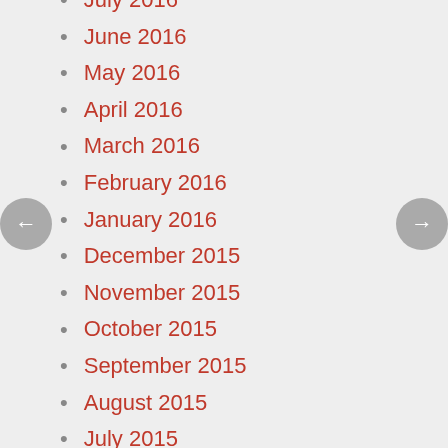July 2016
June 2016
May 2016
April 2016
March 2016
February 2016
January 2016
December 2015
November 2015
October 2015
September 2015
August 2015
July 2015
June 2015
May 2015
April 2015